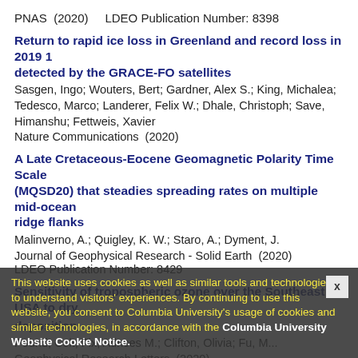PNAS  (2020)    LDEO Publication Number: 8398
Return to rapid ice loss in Greenland and record loss in 2019 1 detected by the GRACE-FO satellites
Sasgen, Ingo; Wouters, Bert; Gardner, Alex S.; King, Michalea; Tedesco, Marco; Landerer, Felix W.; Dhale, Christoph; Save, Himanshu; Fettweis, Xavier
Nature Communications  (2020)
A Late Cretaceous-Eocene Geomagnetic Polarity Time Scale (MQSD20) that steadies spreading rates on multiple mid-ocean ridge flanks
Malinverno, A.; Quigley, K. W.; Staro, A.; Dyment, J.
Journal of Geophysical Research - Solid Earth  (2020)
LDEO Publication Number: 8429
Sensitivity of tropospheric ozone over the Southeast USA to dry
deposition
Pound, Colt; Fix, Adnces M.; Clifton, Olivia; Fu, M...
Geophysical Research Letters  (2020)
LDEO Publication Number: 8390
This website uses cookies as well as similar tools and technologies to understand visitors' experiences. By continuing to use this website, you consent to Columbia University's usage of cookies and similar technologies, in accordance with the Columbia University Website Cookie Notice.